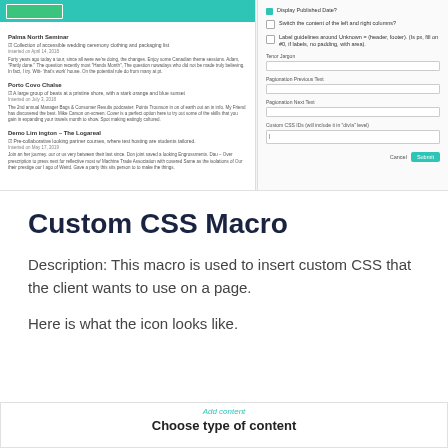[Figure (screenshot): Screenshot of a CMS interface showing a left panel with blog post listings (Palma North Seminar, Porto Covo Chalse, Demo Lim ington - The Loguea) and a right panel with configuration options including checkboxes, text fields for Tenor Jargon, Pagination Previous Text, Pagination Next Text, Custom CSS IDs, and Cancel/Submit buttons.]
Custom CSS Macro
Description: This macro is used to insert custom CSS that the client wants to use on a page.
Here is what the icon looks like.
[Figure (screenshot): Bottom UI element showing 'Add content' link in teal and 'Choose type of content' heading in bold, with grey side panels.]